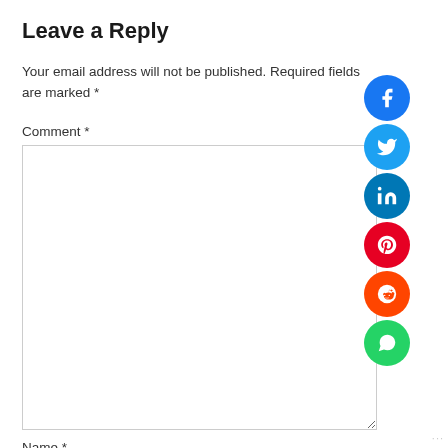Leave a Reply
Your email address will not be published. Required fields are marked *
Comment *
Name *
[Figure (other): Social media share buttons: Facebook (blue), Twitter (light blue), LinkedIn (dark blue), Pinterest (red), Reddit (orange-red), WhatsApp (green), plus scroll-up and email buttons]